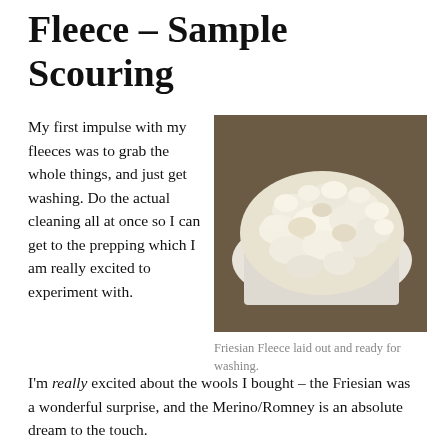Fleece – Sample Scouring
My first impulse with my fleeces was to grab the whole things, and just get washing. Do the actual cleaning all at once so I can get to the prepping which I am really excited to experiment with. I'm really excited about the wools I bought – the Friesian was a wonderful surprise, and the Merino/Romney is an absolute dream to the touch.
[Figure (photo): Friesian fleece laid out on white paper or cloth ready for washing, photographed on a dark surface.]
Friesian Fleece laid out and ready for washing.